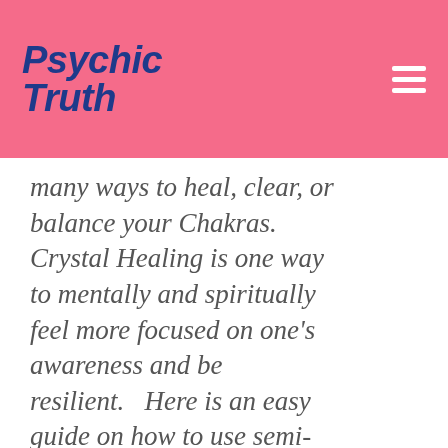Psychic Truth
many ways to heal, clear, or balance your Chakras. Crystal Healing is one way to mentally and spiritually feel more focused on one’s awareness and be resilient.   Here is an easy guide on how to use semi-precious stones as an aid in vibrational energy-based system of healing: Breathe deeply and